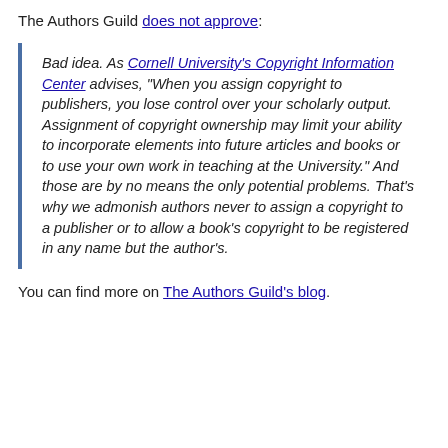The Authors Guild does not approve:
Bad idea. As Cornell University's Copyright Information Center advises, "When you assign copyright to publishers, you lose control over your scholarly output. Assignment of copyright ownership may limit your ability to incorporate elements into future articles and books or to use your own work in teaching at the University." And those are by no means the only potential problems. That's why we admonish authors never to assign a copyright to a publisher or to allow a book's copyright to be registered in any name but the author's.
You can find more on The Authors Guild's blog.